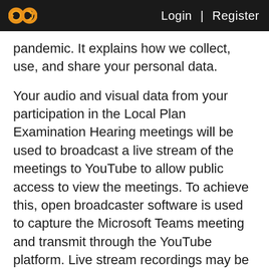Login | Register
pandemic. It explains how we collect, use, and share your personal data.
Your audio and visual data from your participation in the Local Plan Examination Hearing meetings will be used to broadcast a live stream of the meetings to YouTube to allow public access to view the meetings. To achieve this, open broadcaster software is used to capture the Microsoft Teams meeting and transmit through the YouTube platform. Live stream recordings may be used at the time of the event and the recording will be retained online as a record of the event whilst the local plan is being adopted and for a period of 12 weeks from the initial adoption of the plan (and disposal of any related legal proceedings